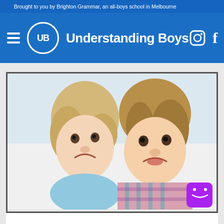Brought to you by Brighton Grammar, an all-boys school in Melbourne
Understanding Boys
[Figure (photo): Two young boys lying on their backs, smiling upside-down at the camera. One wears a plaid/checked shirt, the other a light blue top.]
[Figure (logo): Purple chat widget icon with a smiley face in the bottom right corner]